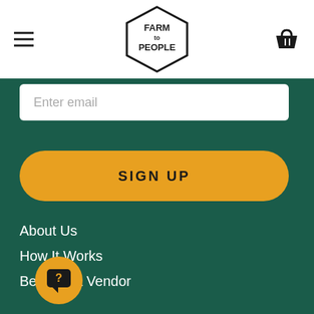Farm to People — navigation header with hamburger menu and basket icon
Enter email
SIGN UP
About Us
How It Works
Become a Vendor
We're Hiring!
P
Contact